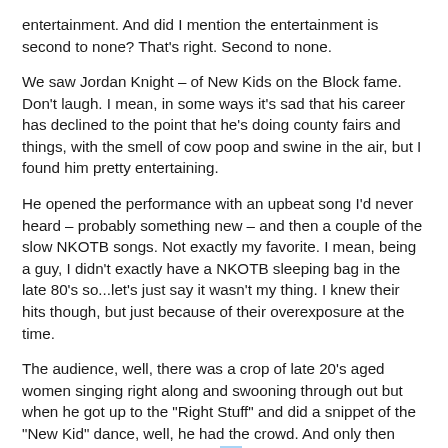entertainment. And did I mention the entertainment is second to none? That's right. Second to none.
We saw Jordan Knight – of New Kids on the Block fame. Don't laugh. I mean, in some ways it's sad that his career has declined to the point that he's doing county fairs and things, with the smell of cow poop and swine in the air, but I found him pretty entertaining.
He opened the performance with an upbeat song I'd never heard – probably something new – and then a couple of the slow NKOTB songs. Not exactly my favorite. I mean, being a guy, I didn't exactly have a NKOTB sleeping bag in the late 80's so...let's just say it wasn't my thing. I knew their hits though, but just because of their overexposure at the time.
The audience, well, there was a crop of late 20's aged women singing right along and swooning through out but when he got up to the "Right Stuff" and did a snippet of the "New Kid" dance, well, he had the crowd. And only then could you tell he really was a pro and not just some crappy low budget entertainment.